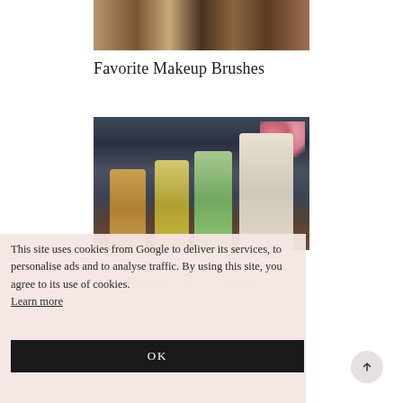[Figure (photo): Cropped image of makeup brushes with warm brown tones at the top of the page]
Favorite Makeup Brushes
[Figure (photo): Image of beauty/skincare product bottles (lotion, soap dispensers) surrounded by flowers and floral fabric background]
This site uses cookies from Google to deliver its services, to personalise ads and to analyse traffic. By using this site, you agree to its use of cookies. Learn more
st of Beauty 2021 – Body
OK